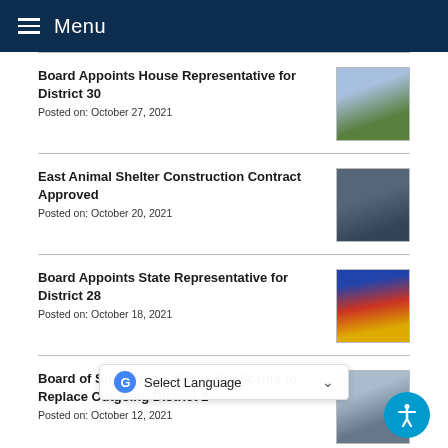Menu
Board Appoints House Representative for District 30
Posted on: October 27, 2021
East Animal Shelter Construction Contract Approved
Posted on: October 20, 2021
Board Appoints State Representative for District 28
Posted on: October 18, 2021
Board of Supervisors Seeks Applicants to Replace Outgoing District 2
Posted on: October 12, 2021
Maricopa County Invests $15M to Bring